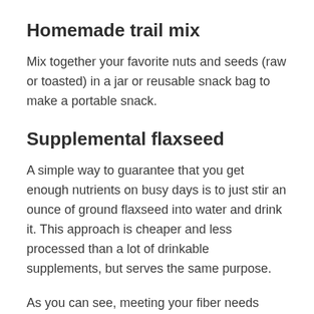Homemade trail mix
Mix together your favorite nuts and seeds (raw or toasted) in a jar or reusable snack bag to make a portable snack.
Supplemental flaxseed
A simple way to guarantee that you get enough nutrients on busy days is to just stir an ounce of ground flaxseed into water and drink it. This approach is cheaper and less processed than a lot of drinkable supplements, but serves the same purpose.
As you can see, meeting your fiber needs while on a keto diet can be simple to do if you focus on the right foods. These smart choices...